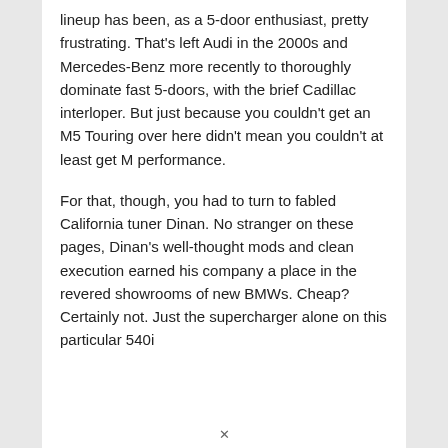lineup has been, as a 5-door enthusiast, pretty frustrating. That's left Audi in the 2000s and Mercedes-Benz more recently to thoroughly dominate fast 5-doors, with the brief Cadillac interloper. But just because you couldn't get an M5 Touring over here didn't mean you couldn't at least get M performance.
For that, though, you had to turn to fabled California tuner Dinan. No stranger on these pages, Dinan's well-thought mods and clean execution earned his company a place in the revered showrooms of new BMWs. Cheap? Certainly not. Just the supercharger alone on this particular 540i